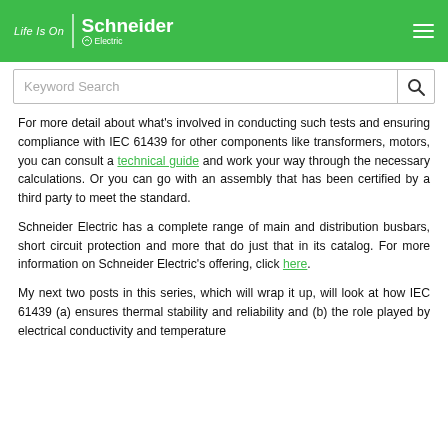Life Is On | Schneider Electric
Keyword Search
For more detail about what's involved in conducting such tests and ensuring compliance with IEC 61439 for other components like transformers, motors, you can consult a technical guide and work your way through the necessary calculations. Or you can go with an assembly that has been certified by a third party to meet the standard.
Schneider Electric has a complete range of main and distribution busbars, short circuit protection and more that do just that in its catalog. For more information on Schneider Electric's offering, click here.
My next two posts in this series, which will wrap it up, will look at how IEC 61439 (a) ensures thermal stability and reliability and (b) the role played by electrical conductivity and temperature